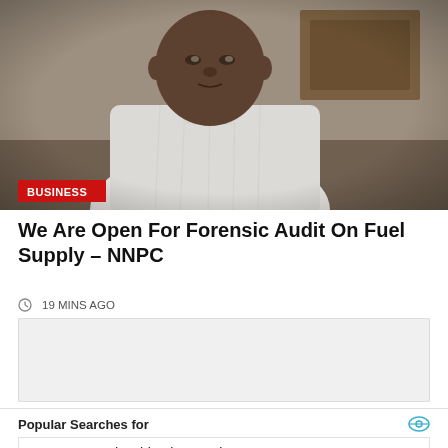[Figure (photo): Photo of a man wearing a white traditional Nigerian robe (agbada/buba), seated at a desk. A red badge/label reading BUSINESS is overlaid at bottom-left of the photo.]
We Are Open For Forensic Audit On Fuel Supply – NNPC
19 MINS AGO
[Figure (other): Advertisement placeholder box (grey/light background)]
Popular Searches for
1   Best Teeth Whitening Toothpaste
2   Top Stocks To Buy
Yahoo! Search | Sponsored